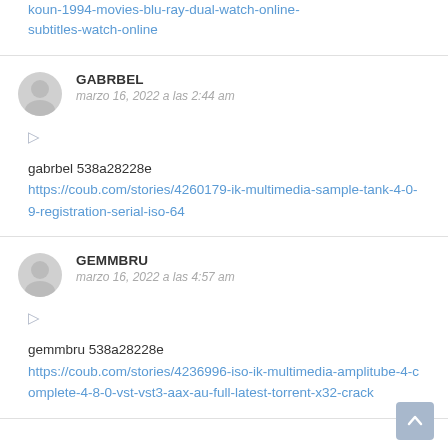koun-1994-movies-blu-ray-dual-watch-online-subtitles-watch-online
GABRBEL
marzo 16, 2022 a las 2:44 am
gabrbel 538a28228e https://coub.com/stories/4260179-ik-multimedia-sample-tank-4-0-9-registration-serial-iso-64
GEMMBRU
marzo 16, 2022 a las 4:57 am
gemmbru 538a28228e https://coub.com/stories/4236996-iso-ik-multimedia-amplitube-4-complete-4-8-0-vst-vst3-aax-au-full-latest-torrent-x32-crack